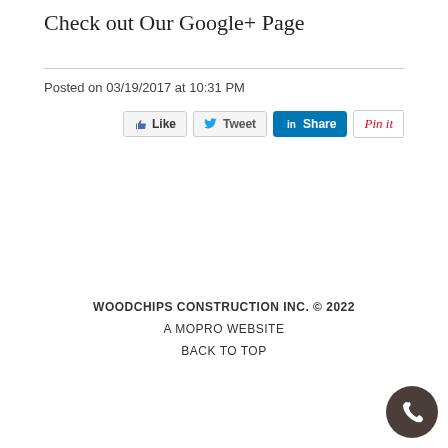Check out Our Google+ Page
Posted on 03/19/2017 at 10:31 PM
[Figure (other): Social sharing buttons: Like, Tweet, Share (LinkedIn), Pin it]
WOODCHIPS CONSTRUCTION INC. © 2022
A MOPRO WEBSITE
BACK TO TOP